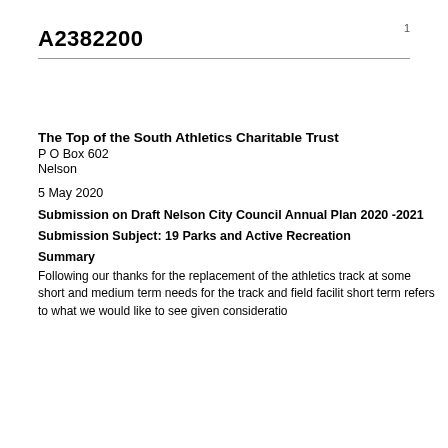A2382200
1
The Top of the South Athletics Charitable Trust
P O Box 602
Nelson
5 May 2020
Submission on Draft Nelson City Council Annual Plan 2020 -2021
Submission Subject: 19 Parks and Active Recreation
Summary
Following our thanks for the replacement of the athletics track at some short and medium term needs for the track and field facilit short term refers to what we would like to see given consideratio